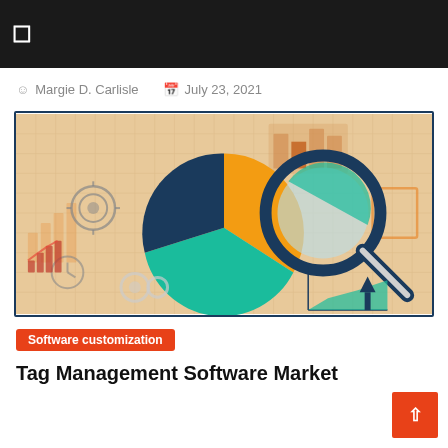☰
Margie D. Carlisle   July 23, 2021
[Figure (illustration): A market research illustration showing a large pie chart (orange, teal, and dark navy slices) with a magnifying glass overlaid, plus a percent symbol, a target icon, bar chart, line chart, clock, gears, and a small area chart in the background on a grid pattern background.]
Software customization
Tag Management Software Market